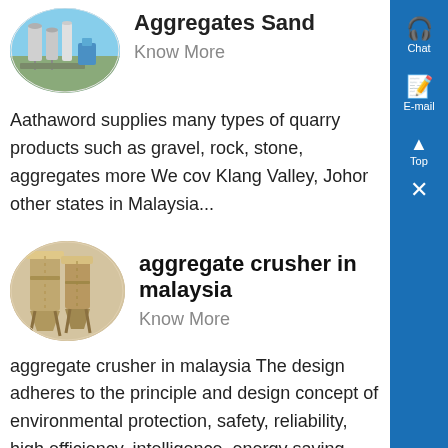[Figure (photo): Industrial plant with silos and equipment - circular/oval cropped image]
Aggregates Sand
Know More
Aathaword supplies many types of quarry products such as gravel, rock, stone, aggregates more We cov Klang Valley, Johor other states in Malaysia...
[Figure (photo): Aggregate crusher machinery - circular/oval cropped image]
aggregate crusher in malaysia
Know More
aggregate crusher in malaysia The design adheres to the principle and design concept of environmental protection, safety, reliability, high efficiency, intelligence, energy saving, complete set , adopts advanced design methods, and adopts the world s m mobile crushing station technology in the design, according to the needs of customers, to create grea